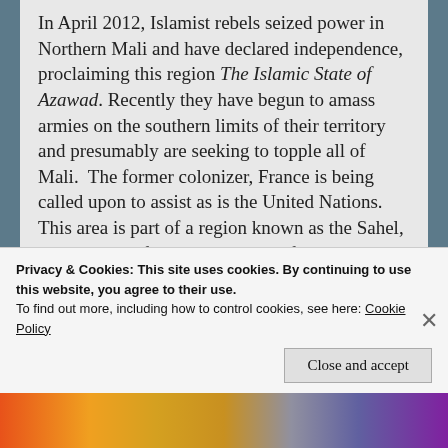In April 2012, Islamist rebels seized power in Northern Mali and have declared independence, proclaiming this region The Islamic State of Azawad. Recently they have begun to amass armies on the southern limits of their territory and presumably are seeking to topple all of Mali.  The former colonizer, France is being called upon to assist as is the United Nations.  This area is part of a region known as the Sahel, the transition from a dry North Africa to tropical Sub-Saharan Africa, from a Muslim/Arab north to a
Privacy & Cookies: This site uses cookies. By continuing to use this website, you agree to their use.
To find out more, including how to control cookies, see here: Cookie Policy
Close and accept